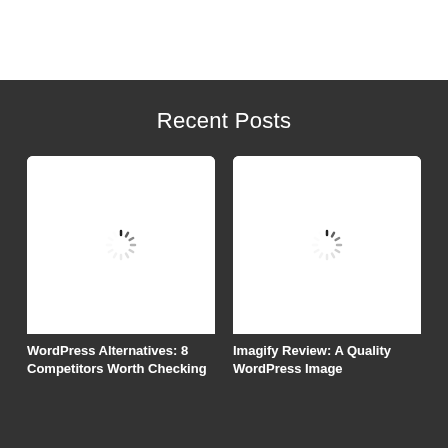Recent Posts
[Figure (screenshot): Loading placeholder image with spinner icon for WordPress Alternatives post]
WordPress Alternatives: 8 Competitors Worth Checking
[Figure (screenshot): Loading placeholder image with spinner icon for Imagify Review post]
Imagify Review: A Quality WordPress Image